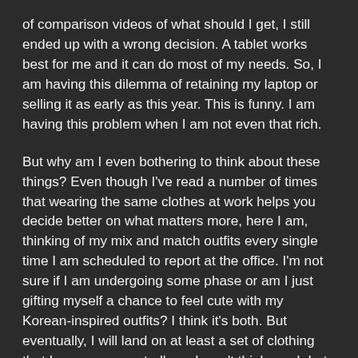of comparison videos of what should I get, I still ended up with a wrong decision. A tablet works best for me and it can do most of my needs. So, I am having this dilemma of retaining my laptop or selling it as early as this year. This is funny. I am having this problem when I am not even that rich.
But why am I even bothering to think about these things? Even though I've read a number of times that wearing the same clothes at work helps you decide better on what matters more, here I am, thinking of my mix and match outfits every single time I am scheduled to report at the office. I'm not sure if I am undergoing some phase or am I just gifting myself a chance to feel cute with my Korean-inspired outfits? I think it's both. But eventually, I will land on at least a set of clothing that I can use repeatedly so I won't think much but still feel good while wearing them. Hitting two birds with one stone? Hell, yes.